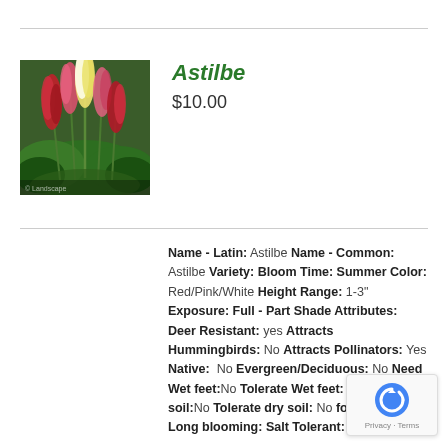[Figure (photo): Photo of Astilbe plant with red, pink, and white feathery plume flowers against green foliage]
Astilbe
$10.00
Name - Latin: Astilbe Name - Common: Astilbe Variety: Bloom Time: Summer Color: Red/Pink/White Height Range: 1-3" Exposure: Full - Part Shade Attributes: Deer Resistant: yes Attracts Hummingbirds: No Attracts Pollinators: Yes Native: No Evergreen/Deciduous: No Need Wet feet:No Tolerate Wet feet: Yes Need Dry soil:No Tolerate dry soil: No for cutting: No Long blooming: Salt Tolerant: